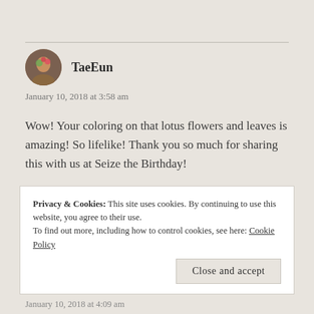TaeEun
January 10, 2018 at 3:58 am
Wow! Your coloring on that lotus flowers and leaves is amazing! So lifelike! Thank you so much for sharing this with us at Seize the Birthday!
Like
Privacy & Cookies: This site uses cookies. By continuing to use this website, you agree to their use.
To find out more, including how to control cookies, see here: Cookie Policy
Close and accept
January 10, 2018 at 4:09 am